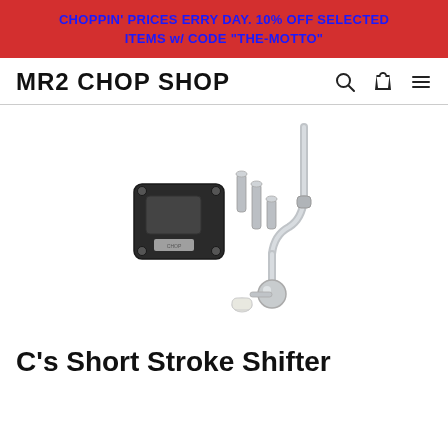CHOPPIN' PRICES ERRY DAY. 10% OFF SELECTED ITEMS w/ CODE "THE-MOTTO"
MR2 CHOP SHOP
[Figure (photo): Short stroke shifter kit with mounting plate, bolts, and chrome shifter lever with ball end and nylon tip on a white background]
C's Short Stroke Shifter